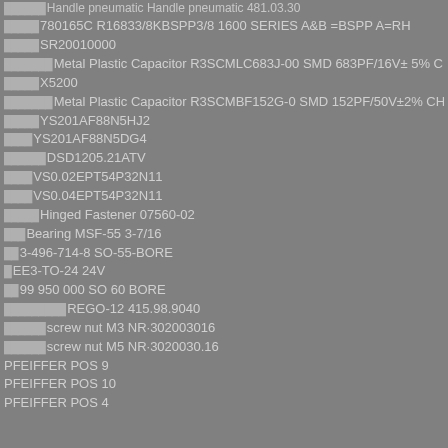Handle pneumatic Handle pneumatic 481.03.30 (partial, top cropped)
780165C R16833/8KBSPP3/8 1600 SERIES A&B =BSPP A=RH
SR20010000
Metal Plastic Capacitor R3SCMLC683J-00 SMD 683PF/16V± 5% CHAV0016J...
X5200
Metal Plastic Capacitor R3SCMBF152G-0 SMD 152PF/50V±2% CHAV0050G1...
YS201AF88N5HJ2
YS201AF88N5DG4
DSD1205.21ATV
VS0.02EPT54P32N11
VS0.04EPT54P32N11
Hinged Fastener 07560-02
Bearing MSF-55 3-7/16
3-496-714-8 SO-55-BORE
EE3-TO-24 24V
99 950 000 SO 60 BORE
REGO-12 415.98.9040
screw nut M3 NR̀302003016
screw nut M5 NR̀3020030.16
PFEIFFER POS 9
PFEIFFER POS 10
PFEIFFER POS 4